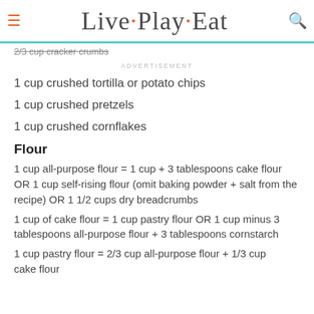Live·Play·Eat
2/3 cup cracker crumbs
ADVERTISEMENT
1 cup crushed tortilla or potato chips
1 cup crushed pretzels
1 cup crushed cornflakes
Flour
1 cup all-purpose flour = 1 cup + 3 tablespoons cake flour OR 1 cup self-rising flour (omit baking powder + salt from the recipe) OR 1 1/2 cups dry breadcrumbs
1 cup of cake flour = 1 cup pastry flour OR 1 cup minus 3 tablespoons all-purpose flour + 3 tablespoons cornstarch
1 cup pastry flour = 2/3 cup all-purpose flour + 1/3 cup cake flour